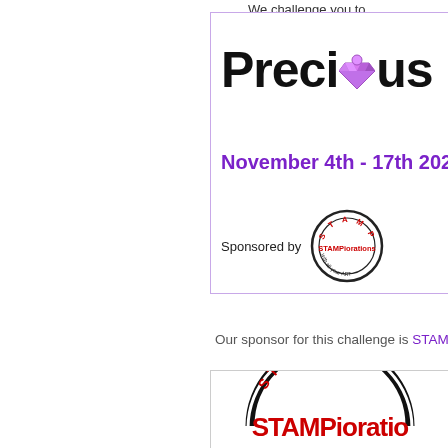We challenge you to
[Figure (illustration): Banner box with 'Precious' title featuring a purple gem diamond emoji replacing the 'i', date November 4th - 17th 2021 in purple, and STAMPlorations sponsor logo with circular stamp design]
Our sponsor for this challenge is STAMPlorations
[Figure (logo): STAMPlorations logo: large circular stamp design in black with 'STAMP' text in red at top, 'STAMPlorations' in large red distressed font, and 'with all your ART' text along the bottom arc in black]